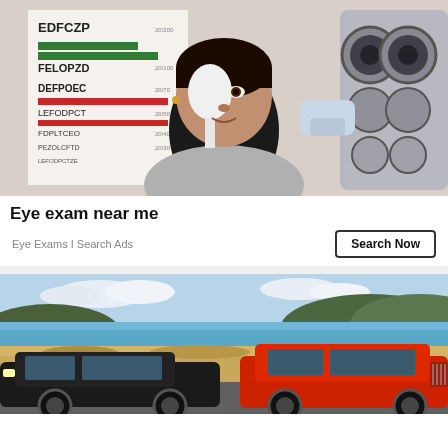[Figure (photo): Woman at eye exam, covering one eye with a paddle, eye chart visible on left, phoropter on right]
Eye exam near me
Eye Exams I Search Ads
[Figure (photo): Two pickup trucks (black and red) parked near a lake with sandy terrain and tree-lined hills in background]